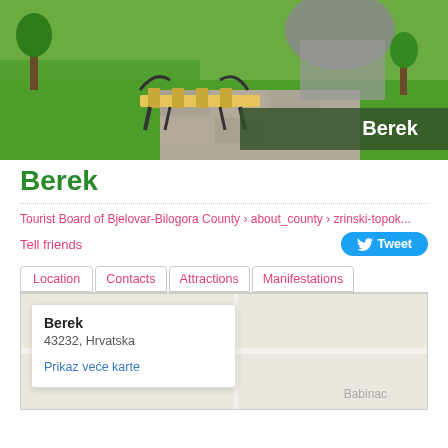[Figure (photo): Outdoor park photo showing a wooden park bench with black metal armrests on a paved path, green grass, trees, and a stone monument in the background. A 'Berek' label overlay appears in the bottom right corner.]
Berek
Tourist Board of Bjelovar-Bilogora County › about_county › zrinski-topol...
Tell friends   Tweet
Location  Contacts  Attractions  Manifestations
Berek
43232, Hrvatska

Prikaz veće karte